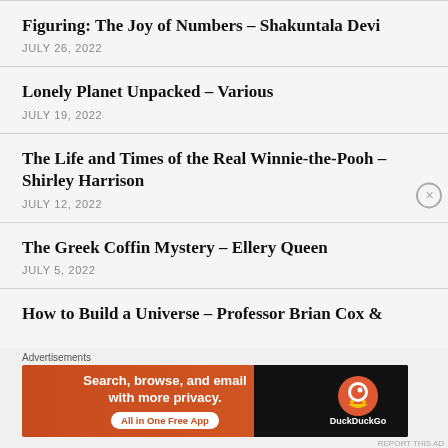Figuring: The Joy of Numbers – Shakuntala Devi
JULY 26, 2022
Lonely Planet Unpacked – Various
JULY 19, 2022
The Life and Times of the Real Winnie-the-Pooh – Shirley Harrison
JULY 12, 2022
The Greek Coffin Mystery – Ellery Queen
JULY 5, 2022
How to Build a Universe – Professor Brian Cox &
[Figure (other): DuckDuckGo advertisement banner: orange background with text 'Search, browse, and email with more privacy. All in One Free App' and DuckDuckGo logo on dark background]
Advertisements